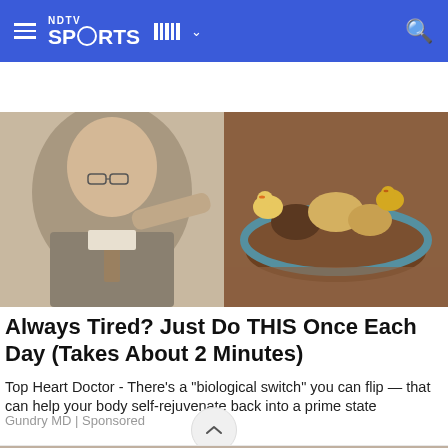NDTV SPORTS
[Figure (photo): Composite image: man in suit pointing at a diagram on the left, and small chicks/animals on soil with a teal-edged circular structure on the right.]
Always Tired? Just Do THIS Once Each Day (Takes About 2 Minutes)
Top Heart Doctor - There's a "biological switch" you can flip — that can help your body self-rejuvenate back into a prime state
Gundry MD | Sponsored
[Figure (photo): Bottom partial image showing a person in dark clothing on the left side and dark machinery/equipment on the right.]